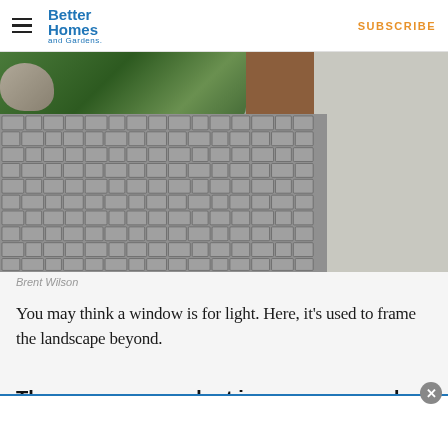Better Homes and Gardens | SUBSCRIBE
[Figure (photo): Cobblestone paver driveway or garden path with greenery and ornamental grasses in background, rocks on left, wooden door visible, gravel area to the right]
Brent Wilson
You may think a window is for light. Here, it’s used to frame the landscape beyond.
Themes you can adopt in your own garden